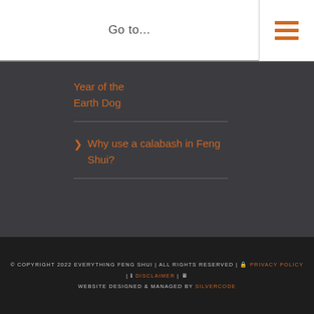Go to...
Year of the Earth Dog
> Why use a calabash in Feng Shui?
© COPYRIGHT 2022 EVERYTHING FENG SHUI | ALL RIGHTS RESERVED | 🔒 PRIVACY POLICY | ℹ DISCLAIMER | 🖥 WEBSITE DESIGNED & MANAGED BY SILVERCODE